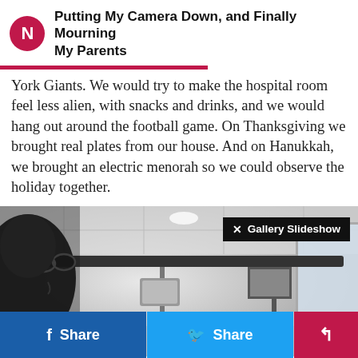Putting My Camera Down, and Finally Mourning My Parents
York Giants. We would try to make the hospital room feel less alien, with snacks and drinks, and we would hang out around the football game. On Thanksgiving we brought real plates from our house. And on Hanukkah, we brought an electric menorah so we could observe the holiday together.
[Figure (photo): Black and white photo of a person wearing glasses in a hospital room, with medical equipment and monitors visible in the background. A 'Gallery Slideshow' badge is overlaid in the top right corner.]
f Share   Share   [share icon]